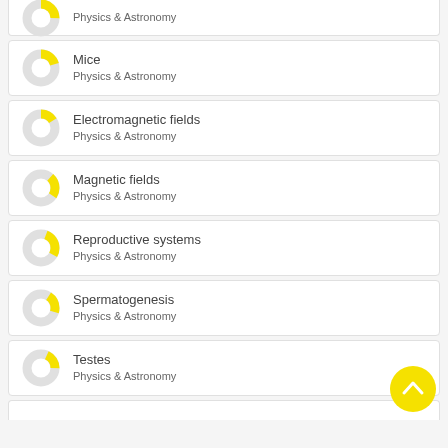Physics & Astronomy
Mice
Physics & Astronomy
Electromagnetic fields
Physics & Astronomy
Magnetic fields
Physics & Astronomy
Reproductive systems
Physics & Astronomy
Spermatogenesis
Physics & Astronomy
Testes
Physics & Astronomy